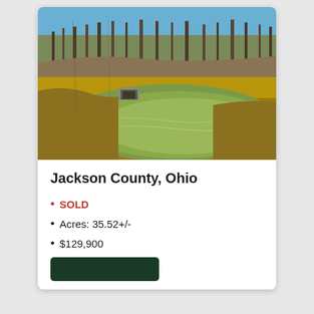[Figure (photo): Outdoor photograph of a pond or water feature with greenish water, surrounded by dry golden grass and bare deciduous trees under a blue sky. A small concrete structure or culvert is visible at the water's edge.]
Jackson County, Ohio
SOLD
Acres: 35.52+/-
$129,900